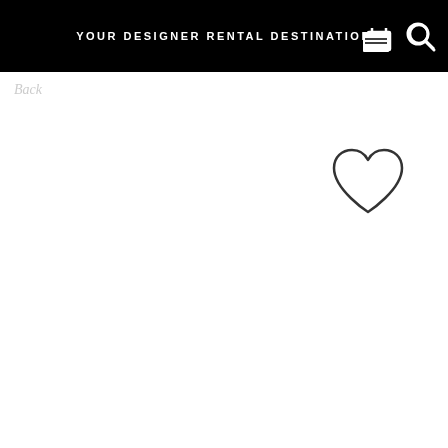YOUR DESIGNER RENTAL DESTINATION
Back
[Figure (illustration): Heart/wishlist icon outline in dark gray]